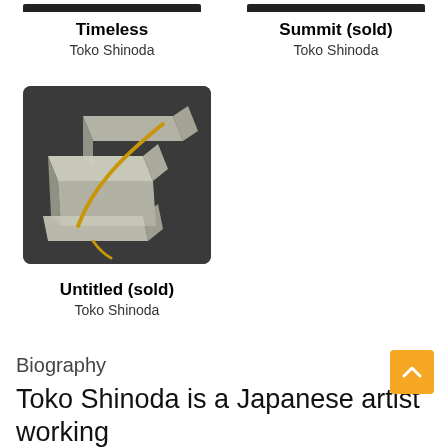Timeless
Toko Shinoda
Summit (sold)
Toko Shinoda
[Figure (photo): Photograph of a sculptural artwork: pale stone blocks with a curved golden element, dark background.]
Untitled (sold)
Toko Shinoda
Biography
Toko Shinoda is a Japanese artist working